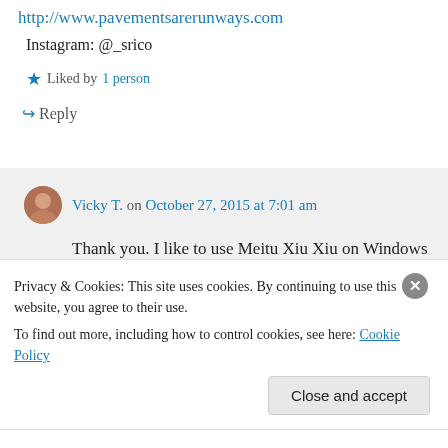http://www.pavementsarerunways.com
Instagram: @_srico
Liked by 1 person
Reply
Vicky T. on October 27, 2015 at 7:01 am
Thank you. I like to use Meitu Xiu Xiu on Windows and PhotoScape on the Mac.
Privacy & Cookies: This site uses cookies. By continuing to use this website, you agree to their use. To find out more, including how to control cookies, see here: Cookie Policy
Close and accept